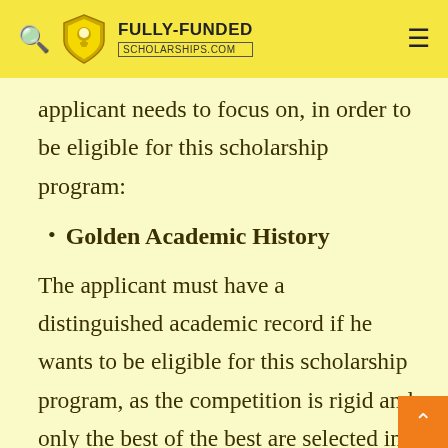FULLY-FUNDED SCHOLARSHIPS.COM
applicant needs to focus on, in order to be eligible for this scholarship program:
Golden Academic History
The applicant must have a distinguished academic record if he wants to be eligible for this scholarship program, as the competition is rigid and only the best of the best are selected in